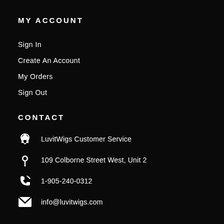MY ACCOUNT
Sign In
Create An Account
My Orders
Sign Out
CONTACT
LuvitWigs Customer Service
109 Colborne Street West, Unit 2
1-905-240-0312
info@luvitwigs.com